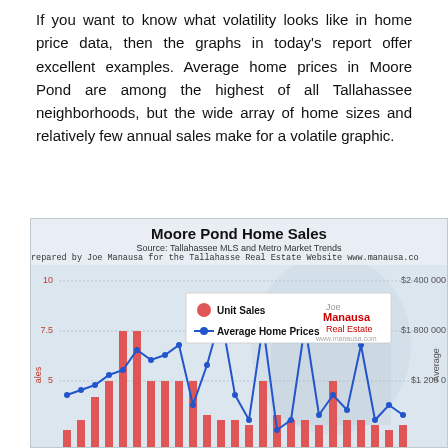If you want to know what volatility looks like in home price data, then the graphs in today's report offer excellent examples. Average home prices in Moore Pond are among the highest of all Tallahassee neighborhoods, but the wide array of home sizes and relatively few annual sales make for a volatile graphic.
[Figure (continuous-plot): Combined bar and line chart showing Unit Sales (red bars, left axis 0-10) and Average Home Prices (blue line with dots, right axis up to $2,400,000) over time. Chart includes watermark 'Joe Manausa Real Estate'. Legend shows red circle for Unit Sales and blue line with dot for Average Home Prices. Values on right axis: $2,400,000, $1,800,000, $1,200,000. Values on left axis: 10, 7.5, 5. Left y-axis label: Sales. Right y-axis label: Average.]